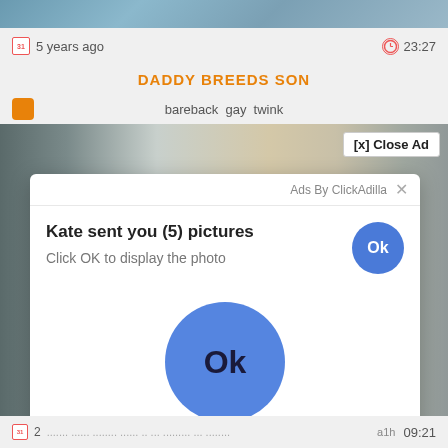[Figure (screenshot): Top thumbnail strip showing water/rain texture background]
5 years ago
23:27
DADDY BREEDS SON
bareback  gay  twink
[Figure (screenshot): Video player showing interior room scene with person visible on right side]
[x] Close Ad
Ads By ClickAdilla  ×
Kate sent you (5) pictures
Click OK to display the photo
Ok
Ok
2
a1h
09:21